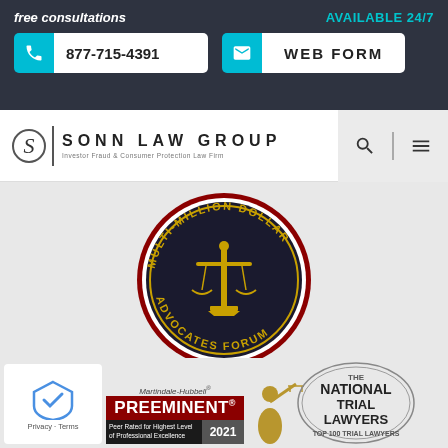free consultations
AVAILABLE 24/7
877-715-4391
WEB FORM
[Figure (logo): Sonn Law Group logo with stylized S in circle, vertical divider, firm name and tagline 'Investor Fraud & Consumer Protection Law Firm']
[Figure (logo): Multi-Million Dollar Advocates Forum circular seal badge with gold scales of justice on dark background and red border]
[Figure (logo): Martindale-Hubbell Preeminent 2021 badge - Peer Rated for Highest Level of Professional Excellence]
[Figure (logo): The National Trial Lawyers Top 100 Trial Lawyers badge with Lady Justice figure]